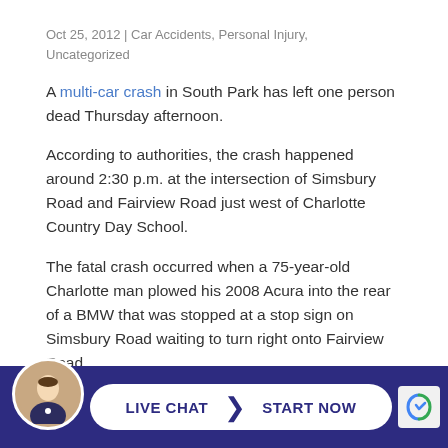Oct 25, 2012 | Car Accidents, Personal Injury, Uncategorized
A multi-car crash in South Park has left one person dead Thursday afternoon.
According to authorities, the crash happened around 2:30 p.m. at the intersection of Simsbury Road and Fairview Road just west of Charlotte Country Day School.
The fatal crash occurred when a 75-year-old Charlotte man plowed his 2008 Acura into the rear of a BMW that was stopped at a stop sign on Simsbury Road waiting to turn right onto Fairview Road.
After hitting the BMW, the man’s Acura continued across Fairview, coming to a stop after crashing in